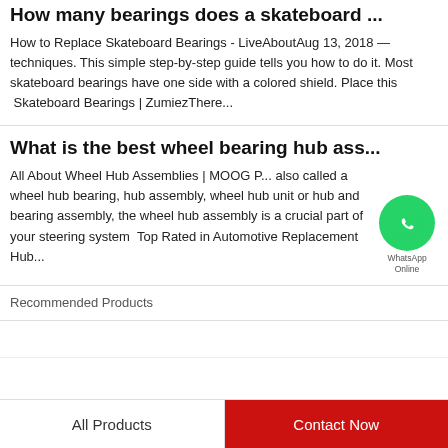How many bearings does a skateboard ...
How to Replace Skateboard Bearings - LiveAboutAug 13, 2018 — techniques. This simple step-by-step guide tells you how to do it. Most skateboard bearings have one side with a colored shield. Place this  Skateboard Bearings | ZumiezThere...
What is the best wheel bearing hub ass...
All About Wheel Hub Assemblies | MOOG P... also called a wheel hub bearing, hub assembly, wheel hub unit or hub and bearing assembly, the wheel hub assembly is a crucial part of your steering system  Top Rated in Automotive Replacement Hub...
[Figure (logo): WhatsApp green circle icon with phone symbol, with text 'WhatsApp Online' below]
Recommended Products
All Products | Contact Now